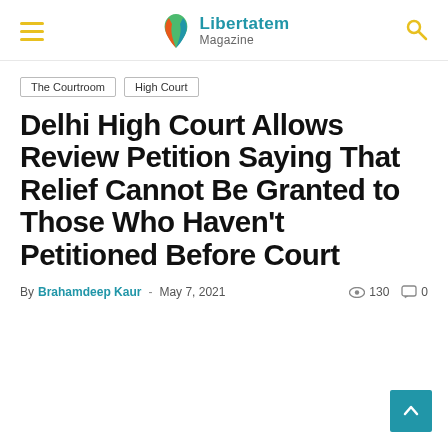Libertatem Magazine
The Courtroom
High Court
Delhi High Court Allows Review Petition Saying That Relief Cannot Be Granted to Those Who Haven't Petitioned Before Court
By Brahamdeep Kaur - May 7, 2021  130  0